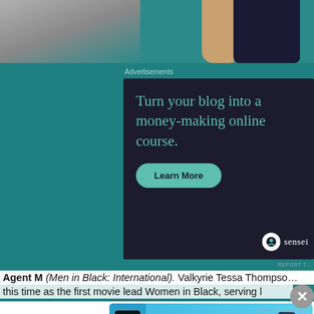[Figure (photo): Top portion of a person holding a phone, wearing dark top, teal background]
Advertisements
[Figure (infographic): Dark advertisement box: 'Turn your blog into a money-making online course.' with Learn More button and Sensei logo]
REPORT T...
Agent M (Men in Black: International).  Valkyrie Tessa Thompson
this time as the first movie lead Women in Black, serving l
Advertisements
[Figure (infographic): Blue banner ad: 'Your Journal for life' with DayOne logo and phone image]